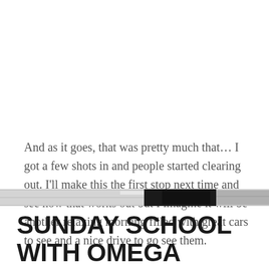And as it goes, that was pretty much that… I got a few shots in and people started clearing out. I'll make this the first stop next time and see how that works out but I imagine it will be another relaxing morning filled with great cars to see and a nice drive to go see them.
[Figure (photo): Partial view of a car, showing a narrow horizontal strip with silver/chrome and black bodywork details.]
SUNDAY SCHOOL WITH OMEGA MOTORSPORTS...